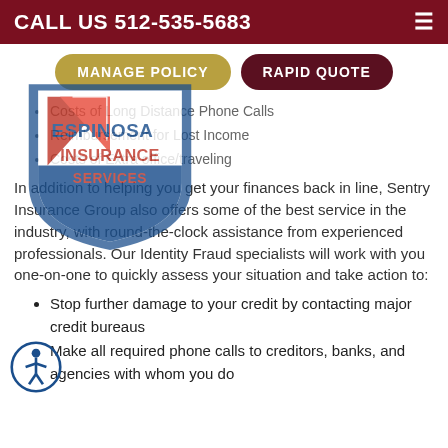CALL US 512-535-5683
[Figure (other): Navigation buttons: MANAGE POLICY and RAPID QUOTE]
[Figure (logo): Espinosa Insurance Services shield logo with red, white, and blue design]
Costs of Long Distance Phone Calls
Reimbursement for Lost Income
Costs of Extra office/traveling
In addition to helping you get your finances back in line, Sentry Insurance Group also offers some of the best service in the industry, with round-the-clock assistance from experienced professionals. Our Identity Fraud specialists will work with you one-on-one to quickly assess your situation and take action to:
Stop further damage to your credit by contacting major credit bureaus
Make all required phone calls to creditors, banks, and agencies with whom you do